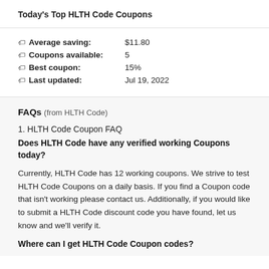Today's Top HLTH Code Coupons
Average saving: $11.80
Coupons available: 5
Best coupon: 15%
Last updated: Jul 19, 2022
FAQs (from HLTH Code)
1. HLTH Code Coupon FAQ
Does HLTH Code have any verified working Coupons today?
Currently, HLTH Code has 12 working coupons. We strive to test HLTH Code Coupons on a daily basis. If you find a Coupon code that isn't working please contact us. Additionally, if you would like to submit a HLTH Code discount code you have found, let us know and we'll verify it.
Where can I get HLTH Code Coupon codes?